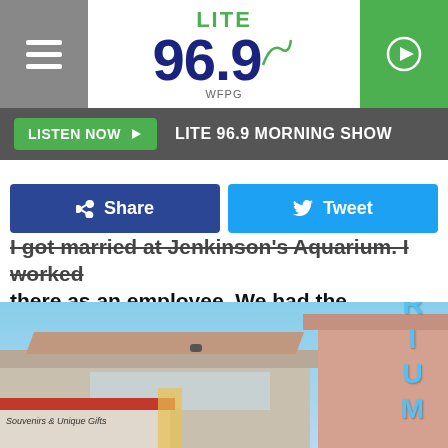LITE 96.9 WFPG
LISTEN NOW ▶  LITE 96.9 MORNING SHOW
Share  Tweet
I got married at Jenkinson's Aquarium. I worked there as an employee. We had the ceremony in front of the penguins, the penguin I raised was the flower girl.
[Figure (photo): Exterior photo of an aquarium building with blue sky, pink/tan building facade, blue 'AQUARIUM' vertical sign on right side, red awning, and a souvenir shop storefront on the left reading 'Souvenirs & Unique Gifts']